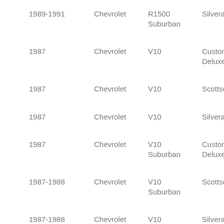| 1989-1991 | Chevrolet | R1500 Suburban | Silverad… |
| 1987 | Chevrolet | V10 | Custom Deluxe |
| 1987 | Chevrolet | V10 | Scottsda… |
| 1987 | Chevrolet | V10 | Silverad… |
| 1987 | Chevrolet | V10 Suburban | Custom Deluxe |
| 1987-1988 | Chevrolet | V10 Suburban | Scottsda… |
| 1987-1988 | Chevrolet | V10 Suburban | Silverad… |
| … | Chevrolet | V1500 | … |